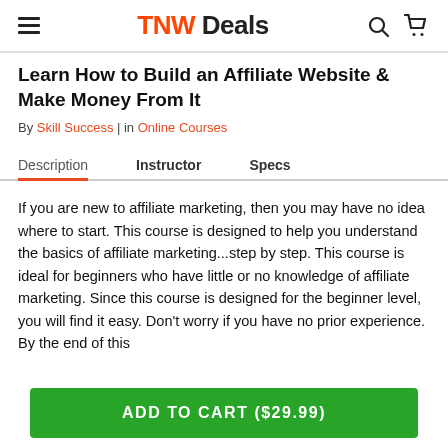TNW Deals
Learn How to Build an Affiliate Website & Make Money From It
By Skill Success | in Online Courses
Description
Instructor
Specs
If you are new to affiliate marketing, then you may have no idea where to start. This course is designed to help you understand the basics of affiliate marketing...step by step. This course is ideal for beginners who have little or no knowledge of affiliate marketing. Since this course is designed for the beginner level, you will find it easy. Don't worry if you have no prior experience. By the end of this
ADD TO CART ($29.99)